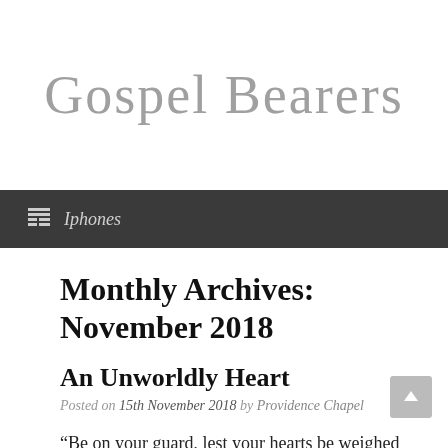Gospel Bearers
Iphones
Monthly Archives: November 2018
An Unworldly Heart
Posted on 15th November 2018 by Providence Chapel
“Be on your guard, lest your hearts be weighed